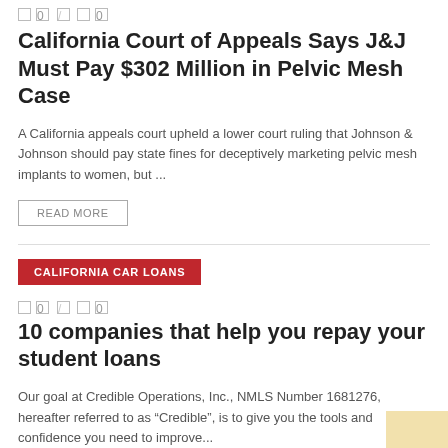0 / 0
California Court of Appeals Says J&J Must Pay $302 Million in Pelvic Mesh Case
A California appeals court upheld a lower court ruling that Johnson & Johnson should pay state fines for deceptively marketing pelvic mesh implants to women, but ...
READ MORE
CALIFORNIA CAR LOANS
0 / 0
10 companies that help you repay your student loans
Our goal at Credible Operations, Inc., NMLS Number 1681276, hereafter referred to as “Credible”, is to give you the tools and confidence you need to improve...